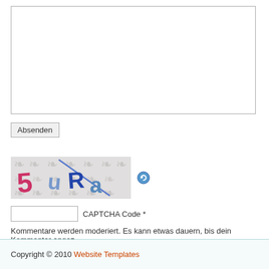[Figure (screenshot): Empty textarea input box with border]
Absenden
[Figure (other): CAPTCHA image showing stylized text '5 uRa' with decorative background and a refresh icon]
CAPTCHA Code *
Kommentare werden moderiert. Es kann etwas dauern, bis dein Kommentar ange...
Copyright © 2010 Website Templates